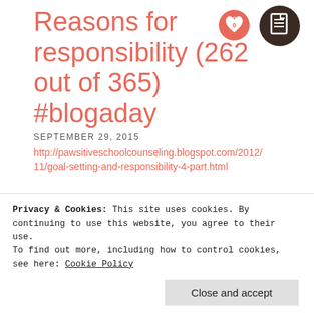Reasons for responsibility (262 out of 365) #blogaday
SEPTEMBER 29, 2015
http://pawsitiveschoolcounseling.blogspot.com/2012/11/goal-setting-and-responsibility-4-part.html
The first parts seem quite complicated for Pre-K, but I think it could benefit us to have a more in-depth breakdown about responsibilities and respect. We could make the scenarios
Privacy & Cookies: This site uses cookies. By continuing to use this website, you agree to their use.
To find out more, including how to control cookies, see here: Cookie Policy
Close and accept